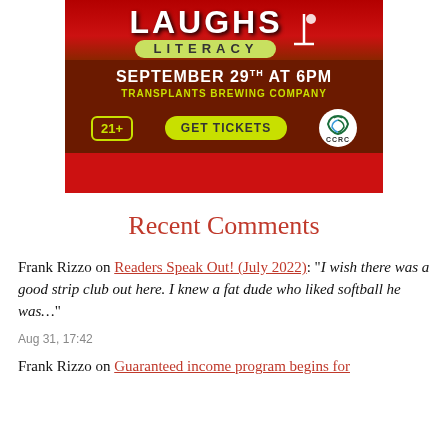[Figure (illustration): Event banner for 'Laughs for Literacy' comedy event on September 29th at 6PM at Transplants Brewing Company. Red curtain background with yellow-green logo, white date text, yellow-green venue text, age restriction 21+, Get Tickets button, and CCRC logo.]
Recent Comments
Frank Rizzo on Readers Speak Out! (July 2022): “I wish there was a good strip club out here. I knew a fat dude who liked softball he was…”
Aug 31, 17:42
Frank Rizzo on Guaranteed income program begins for